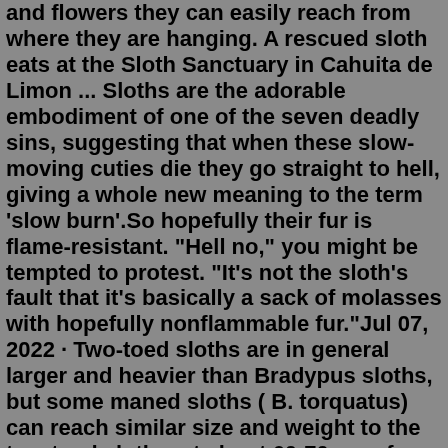and flowers they can easily reach from where they are hanging. A rescued sloth eats at the Sloth Sanctuary in Cahuita de Limon ... Sloths are the adorable embodiment of one of the seven deadly sins, suggesting that when these slow-moving cuties die they go straight to hell, giving a whole new meaning to the term 'slow burn'.So hopefully their fur is flame-resistant. "Hell no," you might be tempted to protest. "It's not the sloth's fault that it's basically a sack of molasses with hopefully nonflammable fur."Jul 07, 2022 · Two-toed sloths are in general larger and heavier than Bradypus sloths, but some maned sloths ( B. torquatus) can reach similar size and weight to the two-toed sloths, at about 60-70 cm of body-length and 7-10 kg of body weight. The smallest sloth is the pygmy sloth ( B. pygmaeus) measuring 45-50 cm and weighing 3.5-4.5 kg. Habitat. The sloth's long, shaggy hair is home to moss, small plants , and bugs like moths. This is due to a combination of the sloth's slow speed and the warm, humid rainforest climate. Sometimes the sloth will even lick the moss and plants